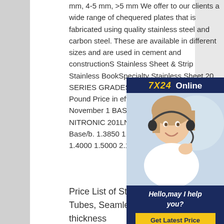mm, 4-5 mm, >5 mm We offer to our clients a wide range of chequered plates that is fabricated using quality stainless steel and carbon steel. These are available in different sizes and are used in cement and constructions Stainless Sheet & Strip Stainless BookSpecialty Stainless Sheet 20 SERIES GRADES STAINLESS S Dollars Per Pound Price in effect of shipment Effective November 1 BASE PRICES Grade NITRONIC 201LN 301 302 304 304L 305 Base/b. 1.3850 1.4000 1.5000 1.3400 1.4000 1.4000 1.5000 2.1600
[Figure (photo): Advertisement overlay showing 7X24 Online customer service representative with headset, with Hello may I help you? text and Get Latest Price button]
Price List of Stainless Steel Pipes & Tubes, Seamless Pipe 6mm thickness